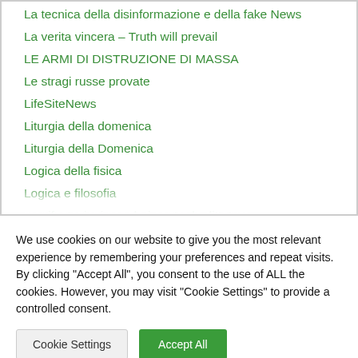La tecnica della disinformazione e della fake News
La verita vincera – Truth will prevail
LE ARMI DI DISTRUZIONE DI MASSA
Le stragi russe provate
LifeSiteNews
Liturgia della domenica
Liturgia della Domenica
Logica della fisica
Logica e filosofia
manifestazioni popolari contro la dittatura
MANIFESTAZIONI AGOSTO
We use cookies on our website to give you the most relevant experience by remembering your preferences and repeat visits. By clicking "Accept All", you consent to the use of ALL the cookies. However, you may visit "Cookie Settings" to provide a controlled consent.